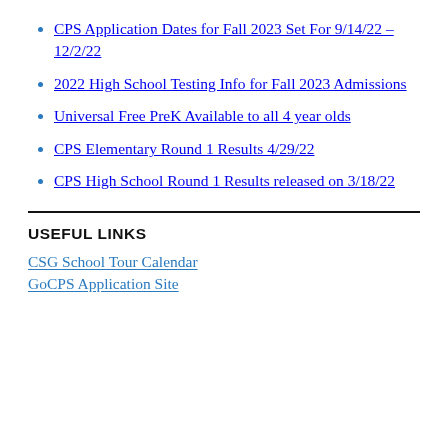CPS Application Dates for Fall 2023 Set For 9/14/22 – 12/2/22
2022 High School Testing Info for Fall 2023 Admissions
Universal Free PreK Available to all 4 year olds
CPS Elementary Round 1 Results 4/29/22
CPS High School Round 1 Results released on 3/18/22
USEFUL LINKS
CSG School Tour Calendar
GoCPS Application Site